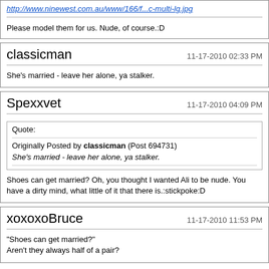http://www.ninewest.com.au/www/166/f...c-multi-lg.jpg
Please model them for us. Nude, of course.:D
classicman
11-17-2010 02:33 PM
She's married - leave her alone, ya stalker.
Spexxvet
11-17-2010 04:09 PM
Quote: Originally Posted by classicman (Post 694731) She's married - leave her alone, ya stalker.
Shoes can get married? Oh, you thought I wanted Ali to be nude. You have a dirty mind, what little of it that there is.:stickpoke:D
xoxoxoBruce
11-17-2010 11:53 PM
"Shoes can get married?" Aren't they always half of a pair?